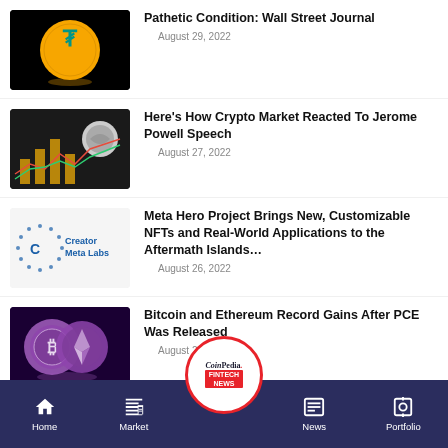[Figure (photo): Tether gold coin on dark background]
Pathetic Condition: Wall Street Journal
August 29, 2022
[Figure (photo): Crypto coins and chart on dark surface]
Here's How Crypto Market Reacted To Jerome Powell Speech
August 27, 2022
[Figure (logo): Creator Meta Labs logo]
Meta Hero Project Brings New, Customizable NFTs and Real-World Applications to the Aftermath Islands…
August 26, 2022
[Figure (photo): Bitcoin and Ethereum purple glowing coins]
Bitcoin and Ethereum Record Gains After PCE Was Released
August 26, 2022
Home  Market  CoinPedia FINTECH NEWS  News  Portfolio